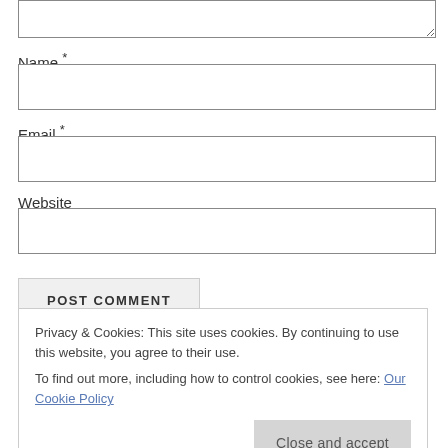(textarea input box)
Name *
(name input box)
Email *
(email input box)
Website
(website input box)
POST COMMENT
Privacy & Cookies: This site uses cookies. By continuing to use this website, you agree to their use. To find out more, including how to control cookies, see here: Our Cookie Policy
Close and accept
This site uses Akismet to reduce spam. Learn how your